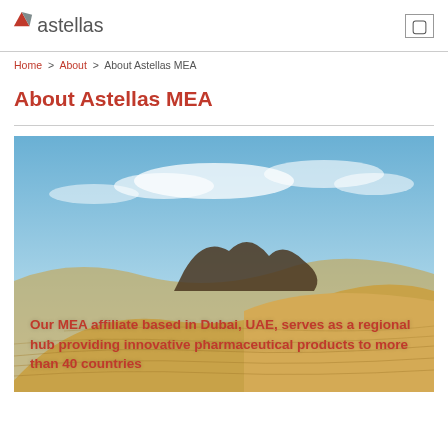Astellas
Home > About > About Astellas MEA
About Astellas MEA
[Figure (photo): Desert landscape with sand dunes under a blue sky with clouds. Overlaid red bold text reads: Our MEA affiliate based in Dubai, UAE, serves as a regional hub providing innovative pharmaceutical products to more than 40 countries]
Our MEA affiliate based in Dubai, UAE, serves as a regional hub providing innovative pharmaceutical products to more than 40 countries